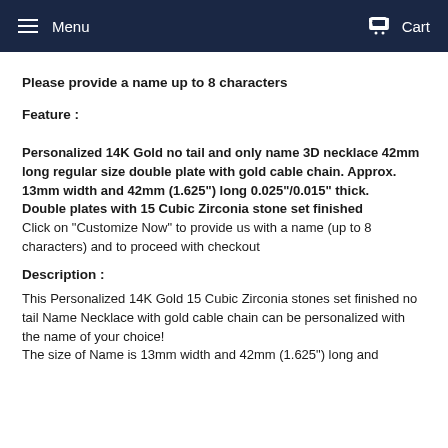Menu   Cart
Please provide a name up to 8 characters
Feature :
Personalized 14K Gold no tail and only name 3D necklace 42mm long regular size double plate with gold cable chain. Approx. 13mm width and 42mm (1.625") long 0.025"/0.015" thick.
Double plates with 15 Cubic Zirconia stone set finished
Click on "Customize Now" to provide us with a name (up to 8 characters) and to proceed with checkout
Description :
This Personalized 14K Gold 15 Cubic Zirconia stones set finished no tail Name Necklace with gold cable chain can be personalized with the name of your choice!
The size of Name is 13mm width and 42mm (1.625") long and